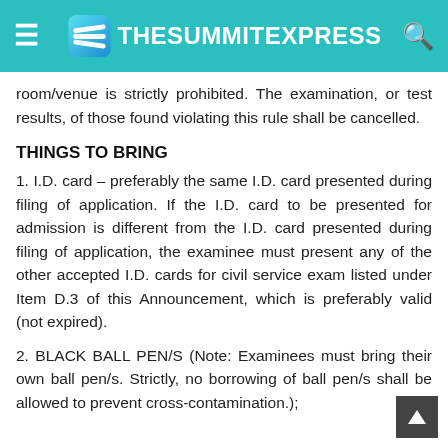TheSummitExpress
room/venue is strictly prohibited. The examination, or test results, of those found violating this rule shall be cancelled.
THINGS TO BRING
1. I.D. card – preferably the same I.D. card presented during filing of application. If the I.D. card to be presented for admission is different from the I.D. card presented during filing of application, the examinee must present any of the other accepted I.D. cards for civil service exam listed under Item D.3 of this Announcement, which is preferably valid (not expired).
2. BLACK BALL PEN/S (Note: Examinees must bring their own ball pen/s. Strictly, no borrowing of ball pen/s shall be allowed to prevent cross-contamination.);